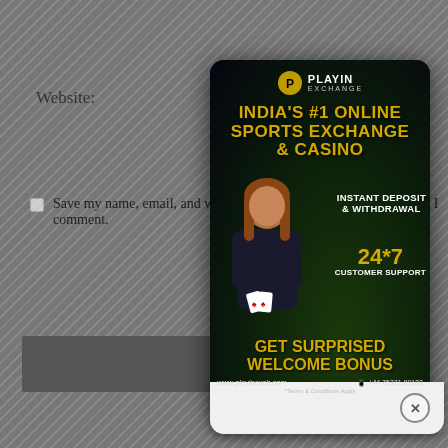Website:
Save my name, email, and website in this browser for the next time I comment.
[Figure (illustration): Playin Exchange online casino advertisement popup. Shows 'INDIA'S #1 ONLINE SPORTS EXCHANGE & CASINO', a woman holding playing cards, 'INSTANT DEPOSIT & WITHDRAWAL', '24*7 CUSTOMER SUPPORT', 'GET SURPRISED WELCOME BONUS', website www.playinexch.com and phone +44 75371 89103. Terms & Conditions Apply.]
Submit Comment